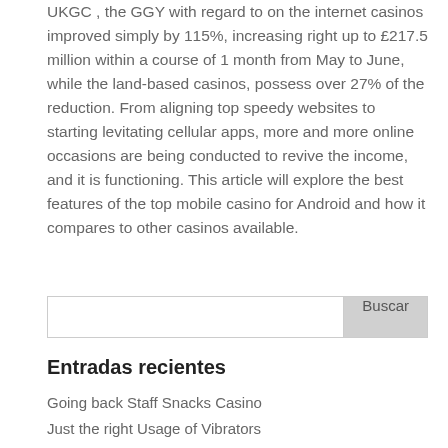UKGC , the GGY with regard to on the internet casinos improved simply by 115%, increasing right up to £217.5 million within a course of 1 month from May to June, while the land-based casinos, possess over 27% of the reduction. From aligning top speedy websites to starting levitating cellular apps, more and more online occasions are being conducted to revive the income, and it is functioning. This article will explore the best features of the top mobile casino for Android and how it compares to other casinos available.
[Figure (other): Search input field with Buscar button]
Entradas recientes
Going back Staff Snacks Casino
Just the right Usage of Vibrators